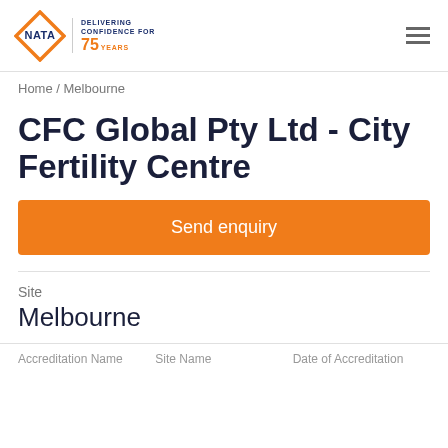[Figure (logo): NATA logo with orange diamond shape and text 'NATA', 'DELIVERING CONFIDENCE FOR', '75 YEARS']
Home / Melbourne
CFC Global Pty Ltd - City Fertility Centre
Send enquiry
Site
Melbourne
Accreditation Name  Site Name  Date of Accreditation